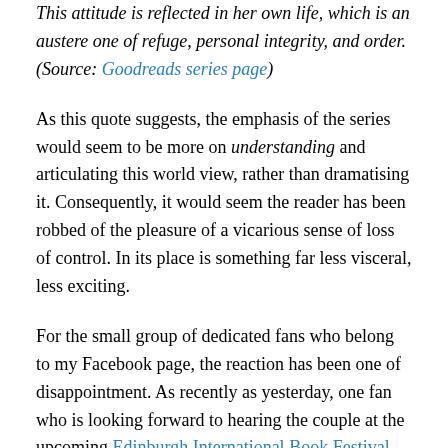This attitude is reflected in her own life, which is an austere one of refuge, personal integrity, and order. (Source: Goodreads series page)
As this quote suggests, the emphasis of the series would seem to be more on understanding and articulating this world view, rather than dramatising it. Consequently, it would seem the reader has been robbed of the pleasure of a vicarious sense of loss of control. In its place is something far less visceral, less exciting.
For the small group of dedicated fans who belong to my Facebook page, the reaction has been one of disappointment. As recently as yesterday, one fan who is looking forward to hearing the couple at the upcoming Edinburgh International Book Festival, expressed her preference for the earlier books and said she hopes to be able to ask the authors whether they planned to write any